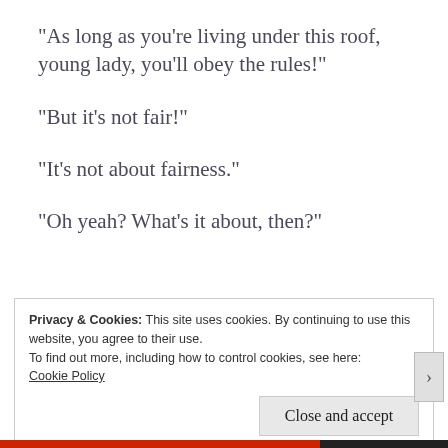“As long as you’re living under this roof, young lady, you’ll obey the rules!”
“But it’s not fair!”
“It’s not about fairness.”
“Oh yeah? What’s it about, then?”
Privacy & Cookies: This site uses cookies. By continuing to use this website, you agree to their use.
To find out more, including how to control cookies, see here: Cookie Policy